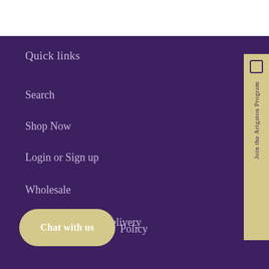Quick links
Search
Shop Now
Login or Sign up
Wholesale
Shipping Fee and Delivery
Policy
Chat with us
Join the Arigatou Program